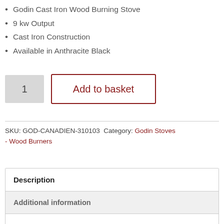Godin Cast Iron Wood Burning Stove
9 kw Output
Cast Iron Construction
Available in Anthracite Black
1   Add to basket
SKU: GOD-CANADIEN-310103 Category: Godin Stoves - Wood Burners
Description
Additional information